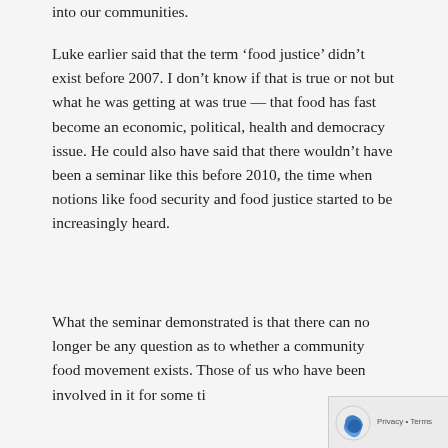into our communities.
Luke earlier said that the term 'food justice' didn't exist before 2007. I don't know if that is true or not but what he was getting at was true — that food has fast become an economic, political, health and democracy issue. He could also have said that there wouldn't have been a seminar like this before 2010, the time when notions like food security and food justice started to be increasingly heard.
What the seminar demonstrated is that there can no longer be any question as to whether a community food movement exists. Those of us who have been involved in it for some time...